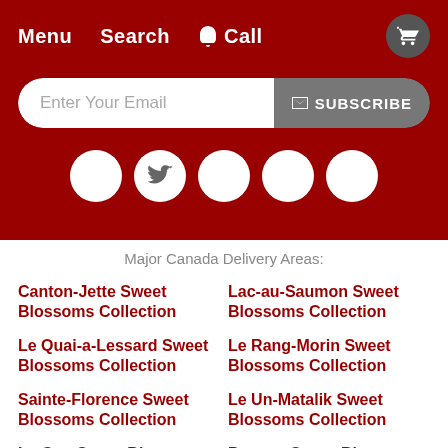Menu   Search   Call
[Figure (screenshot): Email subscription input with SUBSCRIBE button]
[Figure (infographic): Five white social media icon circles on dark red background; second circle shows Twitter bird icon]
Major Canada Delivery Areas:
Canton-Jette Sweet Blossoms Collection
Lac-au-Saumon Sweet Blossoms Collection
Le Quai-a-Lessard Sweet Blossoms Collection
Le Rang-Morin Sweet Blossoms Collection
Sainte-Florence Sweet Blossoms Collection
Le Un-Matalik Sweet Blossoms Collection
La Gap Sweet Blossoms
Parame Sweet Blossoms